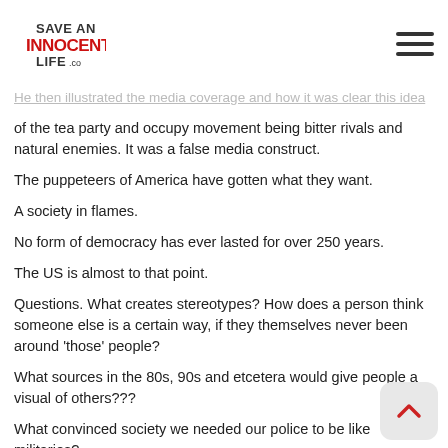same signs he had. They was mad at the same issues he was mad a[t...] He then illustrated the media coverage and how it was clear this idea
[Figure (logo): Save An Innocent Life logo with red and black text]
of the tea party and occupy movement being bitter rivals and natural enemies. It was a false media construct.
The puppeteers of America have gotten what they want.
A society in flames.
No form of democracy has ever lasted for over 250 years.
The US is almost to that point.
Questions. What creates stereotypes? How does a person think someone else is a certain way, if they themselves never been around 'those' people?
What sources in the 80s, 90s and etcetera would give people a visual of others???
What convinced society we needed our police to be like militaries?
What caused people to support 'tough on crime' bills?